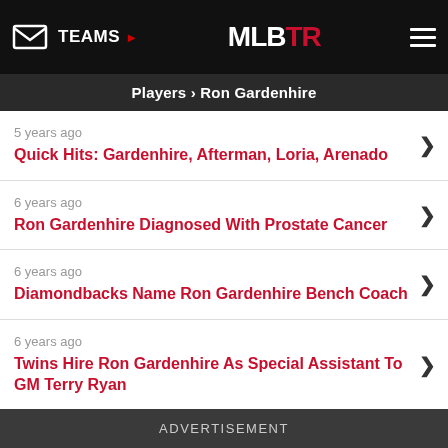TEAMS | MLBTR
Players › Ron Gardenhire
5 years ago
Quick Hits: Gardenhire, Afterman, Loria, Arenado
6 years ago
Ron Gardenhire Diagnosed With Prostate Cancer
6 years ago
Diamondbacks Name Ron Gardenhire Bench Coach
6 years ago
Twins Hire Ron Gardenhire As Special Assistant To GM Terry Ryan
ADVERTISEMENT